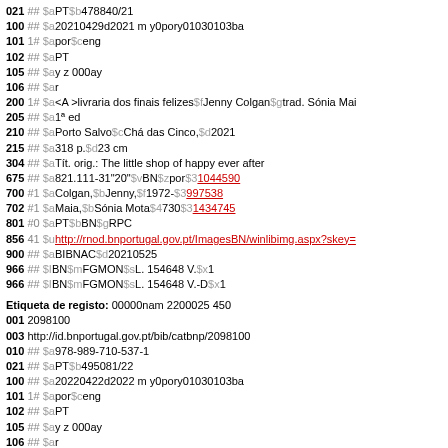021 ## $aPT$b478840/21
100 ## $a20210429d2021 m y0pory01030103ba
101 1# $apor$ceng
102 ## $aPT
105 ## $ay z 000ay
106 ## $ar
200 1# $a<A >livraria dos finais felizes$fJenny Colgan$gtrad. Sónia Mai
205 ## $a1ª ed
210 ## $aPorto Salvo$cChá das Cinco,$d2021
215 ## $a318 p.$d23 cm
304 ## $aTít. orig.: The little shop of happy ever after
675 ## $a821.111-31"20"$vBN$zpor$31044590
700 #1 $aColgan,$bJenny,$f1972-$3997538
702 #1 $aMaia,$bSónia Mota$4730$31434745
801 #0 $aPT$bBN$gRPC
856 41 $uhttp://rnod.bnportugal.gov.pt/ImagesBN/winlibimg.aspx?skey=
900 ## $aBIBNAC$d20210525
966 ## $IBN$mFGMON$sL. 154648 V.$x1
966 ## $IBN$mFGMON$sL. 154648 V.-D$x1
Etiqueta de registo: 00000nam 2200025 450
001 2098100
003 http://id.bnportugal.gov.pt/bib/catbnp/2098100
010 ## $a978-989-710-537-1
021 ## $aPT$b495081/22
100 ## $a20220422d2022 m y0pory01030103ba
101 1# $apor$ceng
102 ## $aPT
105 ## $ay z 000ay
106 ## $ar